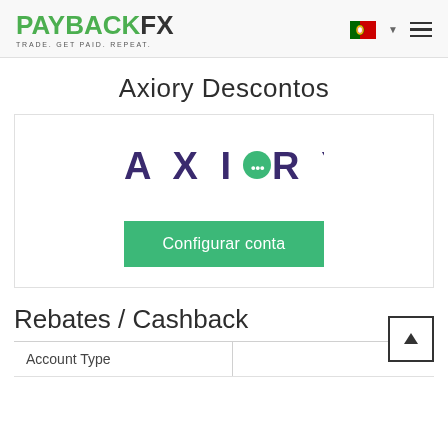PAYBACKFX — TRADE. GET PAID. REPEAT.
Axiory Descontos
[Figure (logo): Axiory broker logo — stylized text AXIORY in dark purple with a green circle replacing the O]
Configurar conta
Rebates / Cashback
| Account Type |  |
| --- | --- |